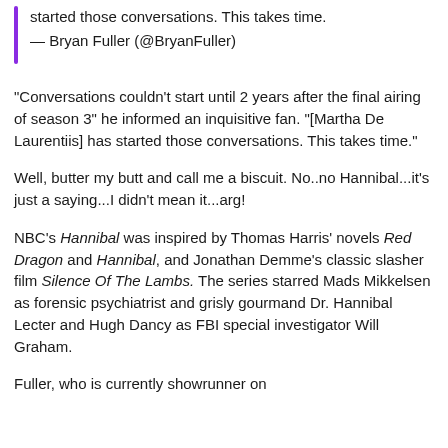started those conversations. This takes time.
— Bryan Fuller (@BryanFuller)
“Conversations couldn’t start until 2 years after the final airing of season 3” he informed an inquisitive fan. “[Martha De Laurentiis] has started those conversations. This takes time.”
Well, butter my butt and call me a biscuit. No..no Hannibal...it’s just a saying...I didn’t mean it...arg!
NBC’s Hannibal was inspired by Thomas Harris’ novels Red Dragon and Hannibal, and Jonathan Demme’s classic slasher film Silence Of The Lambs. The series starred Mads Mikkelsen as forensic psychiatrist and grisly gourmand Dr. Hannibal Lecter and Hugh Dancy as FBI special investigator Will Graham.
Fuller, who is currently showrunner on